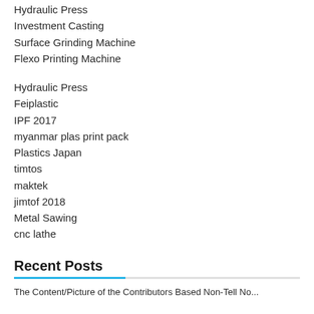Hydraulic Press
Investment Casting
Surface Grinding Machine
Flexo Printing Machine
Hydraulic Press
Feiplastic
IPF 2017
myanmar plas print pack
Plastics Japan
timtos
maktek
jimtof 2018
Metal Sawing
cnc lathe
Recent Posts
The Content/Picture of the Contributors Based Non-Tell No...